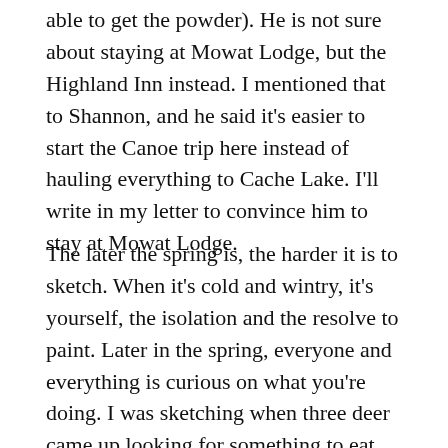able to get the powder). He is not sure about staying at Mowat Lodge, but the Highland Inn instead. I mentioned that to Shannon, and he said it's easier to start the Canoe trip here instead of hauling everything to Cache Lake. I'll write in my letter to convince him to stay at Mowat Lodge.
The later the spring is, the harder it is to sketch. When it's cold and wintry, it's yourself, the isolation and the resolve to paint. Later in the spring, everyone and everything is curious on what you're doing. I was sketching when three deer came up looking for something to eat. The Colsons have made it a habit to feed the deer by the Hotel and